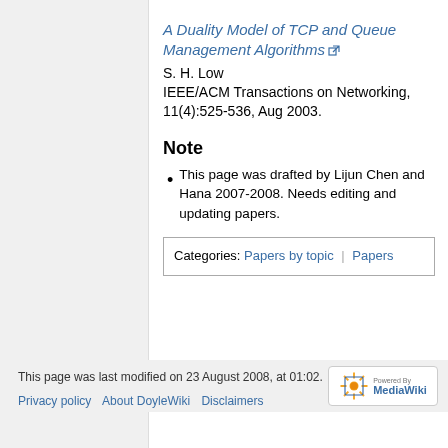A Duality Model of TCP and Queue Management Algorithms
S. H. Low
IEEE/ACM Transactions on Networking, 11(4):525-536, Aug 2003.
Note
This page was drafted by Lijun Chen and Hana 2007-2008. Needs editing and updating papers.
| Categories: | Papers by topic | Papers |
| --- | --- | --- |
This page was last modified on 23 August 2008, at 01:02.
Privacy policy  About DoyleWiki  Disclaimers